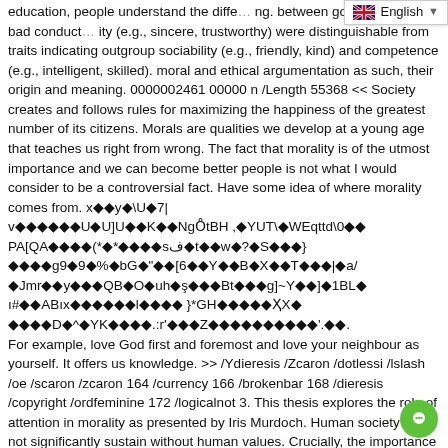education, people understand the diffe... ng. between good conduct and bad conduct... ity (e.g., sincere, trustworthy) were distinguishable from traits indicating outgroup sociability (e.g., friendly, kind) and competence (e.g., intelligent, skilled). moral and ethical argumentation as such, their origin and meaning. 0000002461 00000 n /Length 55368 << Society creates and follows rules for maximizing the happiness of the greatest number of its citizens. Morals are qualities we develop at a young age that teaches us right from wrong. The fact that morality is of the utmost importance and we can become better people is not what I would consider to be a controversial fact. Have some idea of where morality comes from. x�yU7| v�����U�U]U��K��NgO̊tBH ,�YUT\�WEqttd\0�� PA[QA���(*�*���sف�t��w�?�S���} ����g9�9�%�bG�"��[6��Y��B�X��T���|�a/ �Jmr��y���QB�O�uh�ş���Bt���g]~Y��]�1BL� ı#��ABıx������l���� }*GH�����ҲX� ����D�^�YK����.:r'���Z����������'.��. For example, love God first and foremost and love your neighbour as yourself. It offers us knowledge. >> /Ydieresis /Zcaron /dotlessi /lslash /oe /scaron /zcaron 164 /currency 166 /brokenbar 168 /dieresis /copyright /ordfeminine 172 /logicalnot 3. This thesis explores the role of attention in morality as presented by Iris Murdoch. Human society may not significantly sustain without human values. Crucially, the importance of morality to positivity toward ingroups was confirmed with unobtrusive factor analytic methods that simply analyzed how important morality, sociability, and competence were to the positivity in the traits that people ascribed to their ingroups. 0000002980 000... It is only when people have possible alternatives to their As a result, definition might be offeredin which "morality" refers to the most